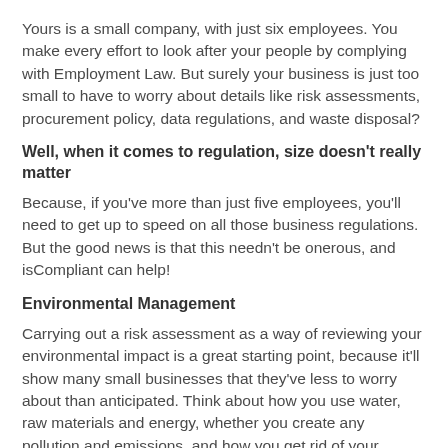Yours is a small company, with just six employees. You make every effort to look after your people by complying with Employment Law. But surely your business is just too small to have to worry about details like risk assessments, procurement policy, data regulations, and waste disposal?
Well, when it comes to regulation, size doesn’t really matter
Because, if you’ve more than just five employees, you’ll need to get up to speed on all those business regulations. But the good news is that this needn’t be onerous, and isCompliant can help!
Environmental Management
Carrying out a risk assessment as a way of reviewing your environmental impact is a great starting point, because it’ll show many small businesses that they’ve less to worry about than anticipated. Think about how you use water, raw materials and energy, whether you create any pollution and emissions, and how you get rid of your waste.
isCompliant can help here, ensuring your business is compliant with ISO 14001, Environmental Management. The software